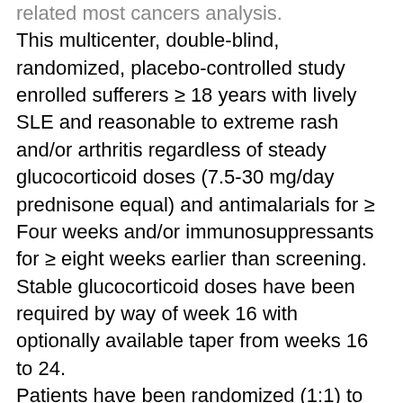related most cancers analysis. This multicenter, double-blind, randomized, placebo-controlled study enrolled sufferers ≥ 18 years with lively SLE and reasonable to extreme rash and/or arthritis regardless of steady glucocorticoid doses (7.5-30 mg/day prednisone equal) and antimalarials for ≥ Four weeks and/or immunosuppressants for ≥ eight weeks earlier than screening. Stable glucocorticoid doses have been required by way of week 16 with optionally available taper from weeks 16 to 24. Patients have been randomized (1:1) to 80 U RCI subcutaneously or placebo each different day to week 4, then twice weekly to week 24. Endpoints included the proportion of SLE Responder Index (SRI)-Four responders at week 16; modifications from baseline to week 16 in 28 Swollen Joint